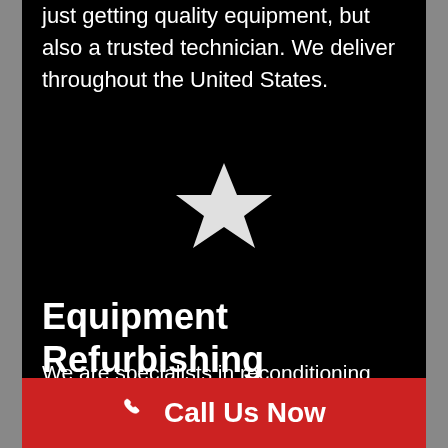just getting quality equipment, but also a trusted technician. We deliver throughout the United States.
[Figure (illustration): White star icon centered on black background]
Equipment Refurbishing
We are specialists in reconditioning commercial kitchen equipment that isn't performing up to par anymore. Our process for reconditioning includes ensuring the equipment is performing at its peak. When we obtain a machine that requires repair, we
Call Us Now